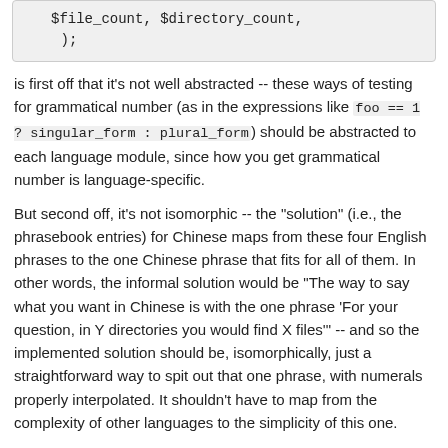$file_count, $directory_count,
    );
is first off that it's not well abstracted -- these ways of testing for grammatical number (as in the expressions like foo == 1 ? singular_form : plural_form) should be abstracted to each language module, since how you get grammatical number is language-specific.
But second off, it's not isomorphic -- the "solution" (i.e., the phrasebook entries) for Chinese maps from these four English phrases to the one Chinese phrase that fits for all of them. In other words, the informal solution would be "The way to say what you want in Chinese is with the one phrase 'For your question, in Y directories you would find X files'" -- and so the implemented solution should be, isomorphically, just a straightforward way to spit out that one phrase, with numerals properly interpolated. It shouldn't have to map from the complexity of other languages to the simplicity of this one.